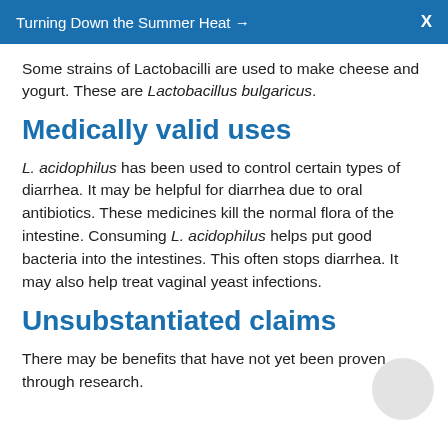Turning Down the Summer Heat → X
Some strains of Lactobacilli are used to make cheese and yogurt. These are Lactobacillus bulgaricus.
Medically valid uses
L. acidophilus has been used to control certain types of diarrhea. It may be helpful for diarrhea due to oral antibiotics. These medicines kill the normal flora of the intestine. Consuming L. acidophilus helps put good bacteria into the intestines. This often stops diarrhea. It may also help treat vaginal yeast infections.
Unsubstantiated claims
There may be benefits that have not yet been proven through research.